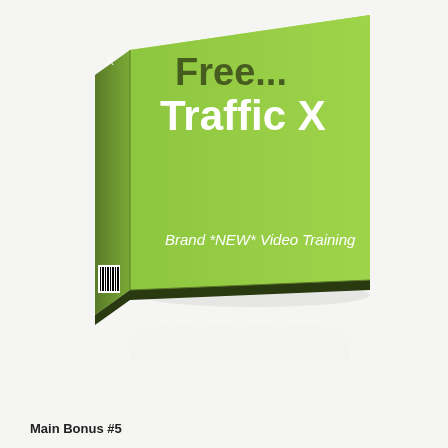[Figure (illustration): 3D software box with green gradient surfaces. Front face shows text 'Free... Traffic X' in large dark and white bold font, and 'Brand *NEW* Video Training' in white italic text near the bottom. A small barcode is visible on the left spine. The box casts a reflection below it on a light background.]
Main Bonus #5